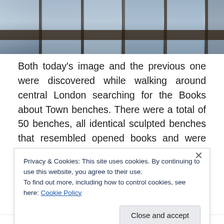[Figure (photo): Top portion of a photo showing a modern glass and steel building exterior with dark wooden/metal beam framing across the top, viewed from below.]
Both today's image and the previous one were discovered while walking around central London searching for the Books about Town benches. There were a total of 50 benches, all identical sculpted benches that resembled opened books and were painted by 50 different artists to illustrate a particular well-known book or writer. The benches were placed all over London for about two months last summer – some in the City, some on the
Privacy & Cookies: This site uses cookies. By continuing to use this website, you agree to their use.
To find out more, including how to control cookies, see here: Cookie Policy
Close and accept